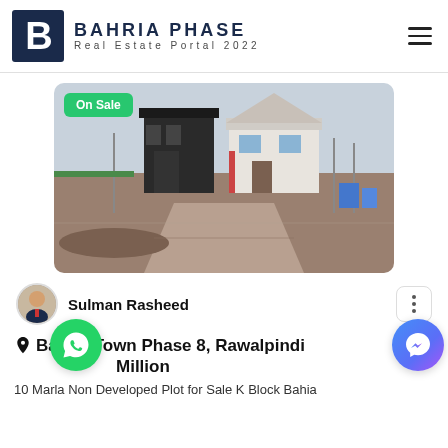BAHRIA PHASE Real Estate Portal 2022
[Figure (photo): Construction site with buildings under development and cleared land, showing a property listing image with 'On Sale' badge]
Sulman Rasheed
Bahria Town Phase 8, Rawalpindi
PKR Million
10 Marla Non Developed Plot for Sale K Block Bahria Town Phase 8